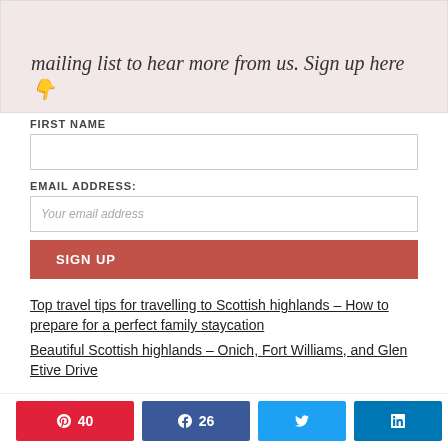Join the 'From Bowl to Soul' mailing list to hear more from us. Sign up here 👇
FIRST NAME
EMAIL ADDRESS:
Your email address
SIGN UP
Top travel tips for travelling to Scottish highlands – How to prepare for a perfect family staycation
Beautiful Scottish highlands – Onich, Fort Williams, and Glen Etive Drive
40  26  66 SHARES